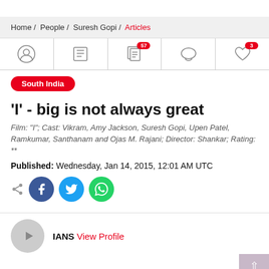Home / People / Suresh Gopi / Articles
[Figure (other): Navigation icon tabs: profile icon, book icon, articles icon with badge 57, comment icon, heart icon with badge 3]
South India
'I' - big is not always great
Film: "I"; Cast: Vikram, Amy Jackson, Suresh Gopi, Upen Patel, Ramkumar, Santhanam and Ojas M. Rajani; Director: Shankar; Rating: **
Published: Wednesday, Jan 14, 2015, 12:01 AM UTC
[Figure (other): Social share icons: share icon, Facebook, Twitter, WhatsApp]
IANS View Profile